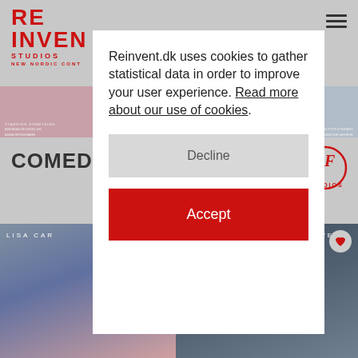[Figure (screenshot): Website screenshot of Reinvent Studios with cookie consent modal overlay. Background shows movie posters and a 'COMEDY C' heading. A white modal dialog in center reads 'Reinvent.dk uses cookies to gather statistical data in order to improve your user experience. Read more about our use of cookies.' with a Decline button and Accept button.]
Reinvent.dk uses cookies to gather statistical data in order to improve your user experience. Read more about our use of cookies.
Decline
Accept